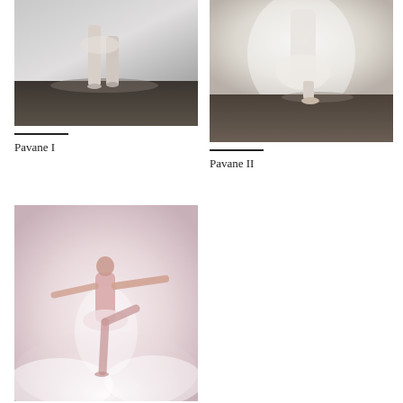[Figure (photo): Ballet dancer feet on pointe on dark wooden floor, grey/white background, muted monochrome tones - Pavane I]
Pavane I
[Figure (photo): Ballet dancer feet on pointe on dark wooden floor, pale white/light background, soft tones - Pavane II]
Pavane II
[Figure (photo): Ballet dancer in arabesque pose surrounded by pink/white fog or smoke, arms extended, wearing white skirt]